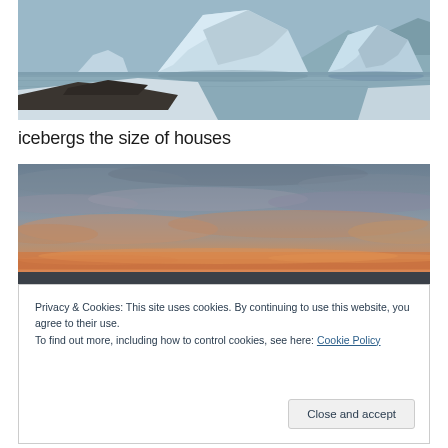[Figure (photo): Photograph of large icebergs the size of houses floating near a shoreline with snowy ground and mountains in background, overcast sky]
icebergs the size of houses
[Figure (photo): Photograph of a dramatic sunset sky with orange and warm-colored clouds on the horizon fading to blue-grey clouds above, taken in a polar or coastal region]
Privacy & Cookies: This site uses cookies. By continuing to use this website, you agree to their use.
To find out more, including how to control cookies, see here: Cookie Policy
Close and accept